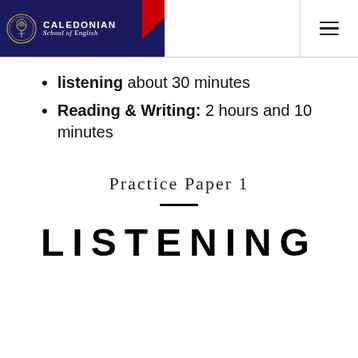[Figure (logo): Caledonian School of English logo with navy background, thistle emblem, and red diagonal stripe, plus hamburger menu icon]
listening about 30 minutes
Reading & Writing: 2 hours and 10 minutes
Practice Paper 1
LISTENING